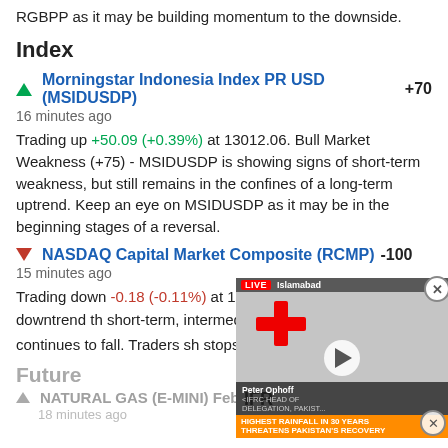RGBPP as it may be building momentum to the downside.
Index
▲ Morningstar Indonesia Index PR USD (MSIDUSDP) +70
16 minutes ago
Trading up +50.09 (+0.39%) at 13012.06. Bull Market Weakness (+75) - MSIDUSDP is showing signs of short-term weakness, but still remains in the confines of a long-term uptrend. Keep an eye on MSIDUSDP as it may be in the beginning stages of a reversal.
▼ NASDAQ Capital Market Composite (RCMP) -100
15 minutes ago
Trading down -0.18 (-0.11%) at 16 - RCMP is in a strong downtrend th short-term, intermediate, and long- CMP continues to fall. Traders sh stops.
[Figure (screenshot): Live video overlay showing IFRC Red Cross/Crescent logo with a person in a red vest (Peter Ophoff, IFRC Head of Delegation, Pakistan) in Islamabad. Lower-third headline: HIGHEST RAINFALL IN 30 YEARS THREATENS PAKISTAN'S RECOVERY. Overlay includes play button and close buttons.]
Future
▲ NATURAL GAS (E-MINI) Feb 2023 (QG.G23) +85
18 minutes ago